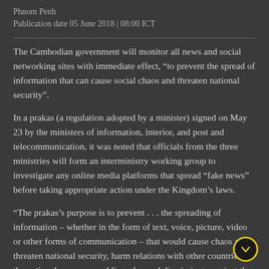Phnom Penh
Publication date 05 June 2018 | 08:00 ICT
The Cambodian government will monitor all news and social networking sites with immediate effect, “to prevent the spread of information that can cause social chaos and threaten national security”.
In a prakas (a regulation adopted by a minister) signed on May 23 by the ministers of information, interior, and post and telecommunication, it was noted that officials from the three ministries will form an interministry working group to investigate any online media platforms that spread “fake news” before taking appropriate action under the Kingdom’s laws.
“The prakas’s purpose is to prevent . . . the spreading of information – whether in the form of text, voice, picture, video or other forms of communication – that would cause chaos and threaten national security, harm relations with other countries, the national economy, public order, and discriminate against the cultural integrity of the country,” it said.
It added that the prakas was needed in order to implement the